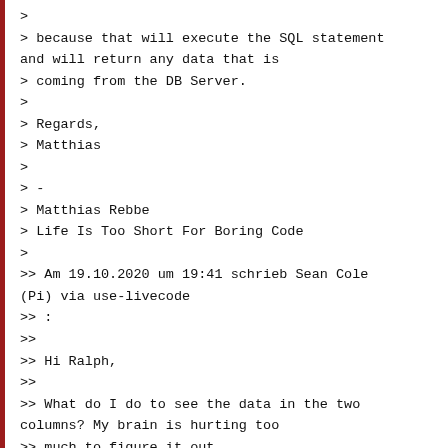>
> because that will execute the SQL statement and will return any data that is
> coming from the DB Server.
>
> Regards,
> Matthias
>
> -
> Matthias Rebbe
> Life Is Too Short For Boring Code
>
>> Am 19.10.2020 um 19:41 schrieb Sean Cole (Pi) via use-livecode
>> :
>>
>> Hi Ralph,
>>
>> What do I do to see the data in the two columns? My brain is hurting too
>> much to figure it out.
>>
>> Thanks